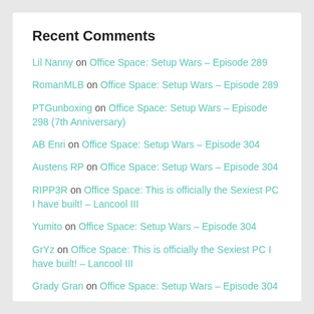Recent Comments
Lil Nanny on Office Space: Setup Wars – Episode 289
RomanMLB on Office Space: Setup Wars – Episode 289
PTGunboxing on Office Space: Setup Wars – Episode 298 (7th Anniversary)
AB Enri on Office Space: Setup Wars – Episode 304
Austens RP on Office Space: Setup Wars – Episode 304
RIPP3R on Office Space: This is officially the Sexiest PC I have built! – Lancool III
Yumito on Office Space: Setup Wars – Episode 304
GrYz on Office Space: This is officially the Sexiest PC I have built! – Lancool III
Grady Gran on Office Space: Setup Wars – Episode 304
Jacob Hartley on Office Space: Setup Wars Episode 303 – Teen Edition